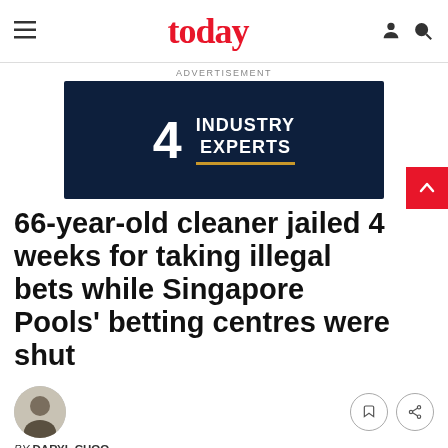today
ADVERTISEMENT
[Figure (other): Advertisement banner with dark navy background showing '4 INDUSTRY EXPERTS' in white bold text with a gold underline]
66-year-old cleaner jailed 4 weeks for taking illegal bets while Singapore Pools' betting centres were shut
BY DARYL CHOO